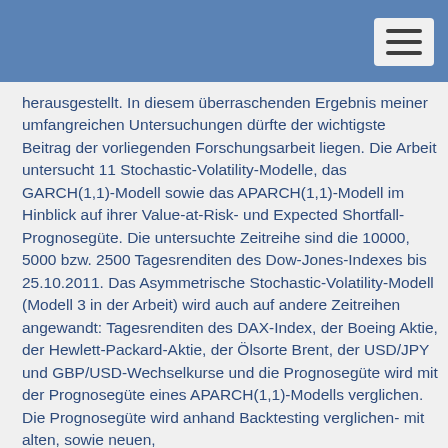herausgestellt. In diesem überraschenden Ergebnis meiner umfangreichen Untersuchungen dürfte der wichtigste Beitrag der vorliegenden Forschungsarbeit liegen. Die Arbeit untersucht 11 Stochastic-Volatility-Modelle, das GARCH(1,1)-Modell sowie das APARCH(1,1)-Modell im Hinblick auf ihrer Value-at-Risk- und Expected Shortfall-Prognosegüte. Die untersuchte Zeitreihe sind die 10000, 5000 bzw. 2500 Tagesrenditen des Dow-Jones-Indexes bis 25.10.2011. Das Asymmetrische Stochastic-Volatility-Modell (Modell 3 in der Arbeit) wird auch auf andere Zeitreihen angewandt: Tagesrenditen des DAX-Index, der Boeing Aktie, der Hewlett-Packard-Aktie, der Ölsorte Brent, der USD/JPY und GBP/USD-Wechselkurse und die Prognosegüte wird mit der Prognosegüte eines APARCH(1,1)-Modells verglichen. Die Prognosegüte wird anhand Backtesting verglichen- mit alten, sowie neuen,